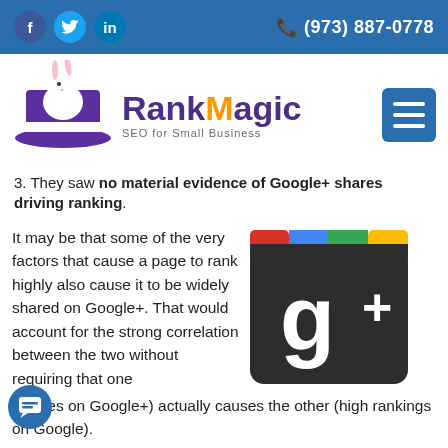f  [Twitter]  in   (973) 887-0778
[Figure (logo): RankMagic SEO for Small Business logo with rabbit in magician hat]
[Figure (other): Hamburger menu button (blue square with three white bars)]
3. They saw no material evidence of Google+ shares driving ranking.
It may be that some of the very factors that cause a page to rank highly also cause it to be widely shared on Google+. That would account for the strong correlation between the two without requiring that one (shares on Google+) actually causes the other (high rankings on Google).
[Figure (logo): Google+ logo icon — dark rounded square with red/blue/green/yellow color bar at top and g+ in white]